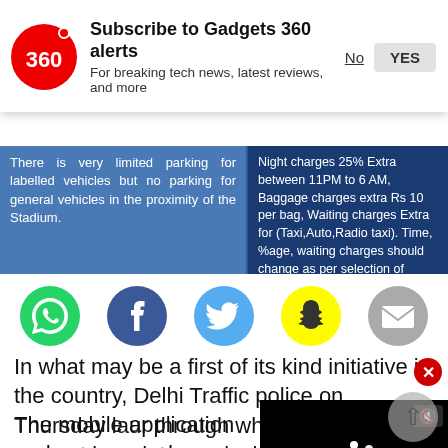[Figure (screenshot): Gadgets 360 notification banner with red circle logo showing '360', title 'Subscribe to Gadgets 360 alerts', subtitle 'For breaking tech news, latest reviews, and more', with No and YES buttons]
[Figure (screenshot): Two-panel screenshot: left panel on blue background showing parking info 'There is very limited parking for labelled vehicles but no parking for general vehicles in the proximity of the Stadium.'; right panel on dark blue showing night charges and fare calculation text]
[Figure (infographic): Row of five social media share icons: WhatsApp (green), Facebook (dark blue), Twitter (light blue), Snapchat (yellow), Email (grey)]
In what may be a first of its kind initiative in the country, Delhi Traffic police on Thursday laur through which commuters can get ir updates, calculate taxi and auto fare traffic signals and fetch all related in their smartphones.
The mobile application and a revamped website of Delhi Traffic Police were launched by Delhi Lieutenant